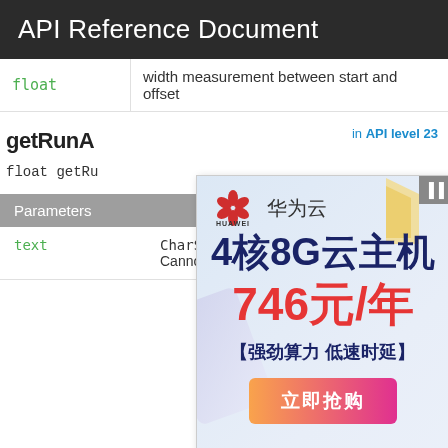API Reference Document
| Type | Description |
| --- | --- |
| float | width measurement between start and offset |
getRunAdvance
Added in API level 23
float getRu...
[Figure (infographic): Huawei cloud advertisement: 4-core 8G cloud server 746 yuan/year, strong computing power, low latency]
Parameters
| Parameter | Description |
| --- | --- |
| text | CharSequence: the text to measure. Cannot be null. |